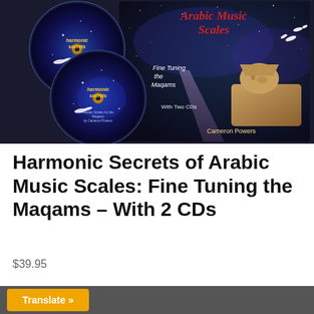[Figure (photo): Product image showing two CDs with space/galaxy themed covers labeled 'Harmonic Secrets' alongside a book cover titled 'Arabic Music Scales: Fine Tuning the Maqams - With Two CDs' by Cameron Powers, featuring the Sphinx and stars/doves]
Harmonic Secrets of Arabic Music Scales: Fine Tuning the Maqams – With 2 CDs
$39.95
Translate »